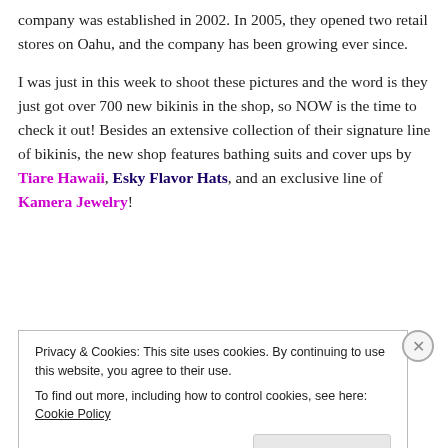company was established in 2002. In 2005, they opened two retail stores on Oahu, and the company has been growing ever since.
I was just in this week to shoot these pictures and the word is they just got over 700 new bikinis in the shop, so NOW is the time to check it out! Besides an extensive collection of their signature line of bikinis, the new shop features bathing suits and cover ups by Tiare Hawaii, Esky Flavor Hats, and an exclusive line of Kamera Jewelry!
Privacy & Cookies: This site uses cookies. By continuing to use this website, you agree to their use. To find out more, including how to control cookies, see here: Cookie Policy